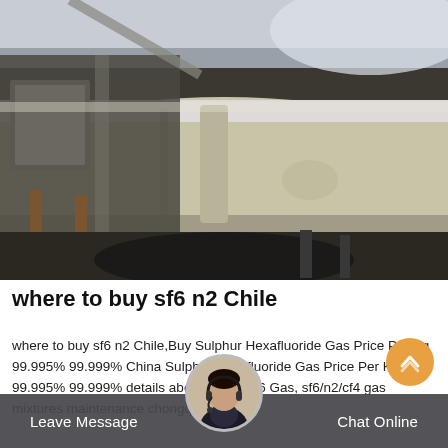[Figure (photo): Industrial photo showing a large cream/beige colored cylindrical pipe or vessel in a dimly lit mechanical room, with metal equipment and structural elements visible in the background.]
where to buy sf6 n2 Chile
where to buy sf6 n2 Chile,Buy Sulphur Hexafluoride Gas Price Per Kg 99.995% 99.999% China Sulphur Hexafluoride Gas Price Per Kg 99.995% 99.999% details about China Sf6 Gas, sf6/n2/cf4 gas mixtures maintenance chongqing gold